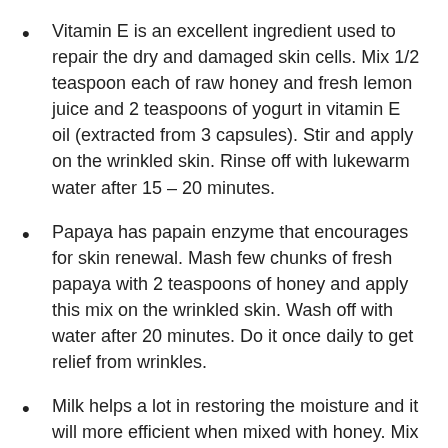Vitamin E is an excellent ingredient used to repair the dry and damaged skin cells. Mix 1/2 teaspoon each of raw honey and fresh lemon juice and 2 teaspoons of yogurt in vitamin E oil (extracted from 3 capsules). Stir and apply on the wrinkled skin. Rinse off with lukewarm water after 15 – 20 minutes.
Papaya has papain enzyme that encourages for skin renewal. Mash few chunks of fresh papaya with 2 teaspoons of honey and apply this mix on the wrinkled skin. Wash off with water after 20 minutes. Do it once daily to get relief from wrinkles.
Milk helps a lot in restoring the moisture and it will more efficient when mixed with honey. Mix 2 tablespoons each of raw honey and warm water in 4 tablespoons of powdered milk to make a paste. Apply this paste on the wrinkled skin and wait for 10 – 15 minutes. Wash off with